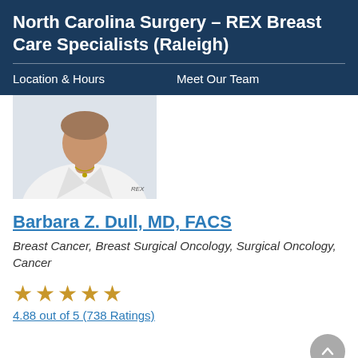North Carolina Surgery – REX Breast Care Specialists (Raleigh)
Location & Hours    Meet Our Team
[Figure (photo): Photo of Dr. Barbara Z. Dull in white lab coat with REX logo, cropped to show torso and lower face area with necklace]
Barbara Z. Dull, MD, FACS
Breast Cancer, Breast Surgical Oncology, Surgical Oncology, Cancer
★★★★★
4.88 out of 5 (738 Ratings)
[Figure (photo): Partial photo of second doctor, showing head/hair at bottom of page]